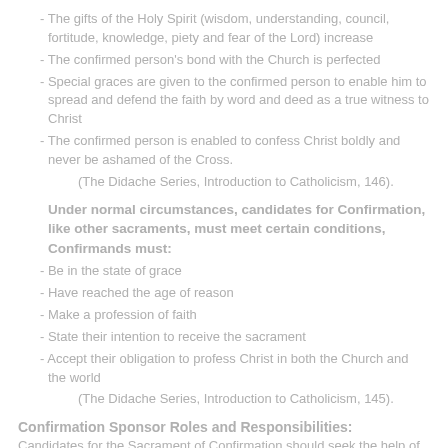- The gifts of the Holy Spirit (wisdom, understanding, council, fortitude, knowledge, piety and fear of the Lord) increase
- The confirmed person's bond with the Church is perfected
- Special graces are given to the confirmed person to enable him to spread and defend the faith by word and deed as a true witness to Christ
- The confirmed person is enabled to confess Christ boldly and never be ashamed of the Cross.
(The Didache Series, Introduction to Catholicism, 146).
Under normal circumstances, candidates for Confirmation, like other sacraments, must meet certain conditions, Confirmands must:
- Be in the state of grace
- Have reached the age of reason
- Make a profession of faith
- State their intention to receive the sacrament
- Accept their obligation to profess Christ in both the Church and the world
(The Didache Series, Introduction to Catholicism, 145).
Confirmation Sponsor Roles and Responsibilities:
Candidates for the Sacrament of Confirmation should seek the help of a